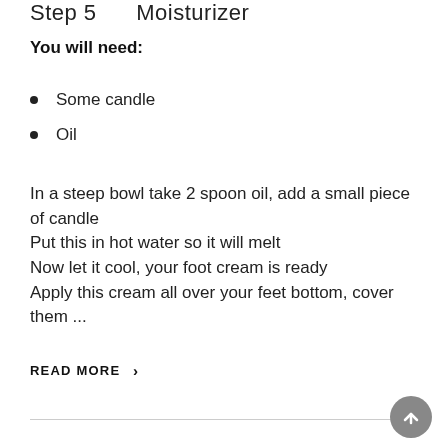Step 5     Moisturizer
You will need:
Some candle
Oil
In a steep bowl take 2 spoon oil, add a small piece of candle
Put this in hot water so it will melt
Now let it cool, your foot cream is ready
Apply this cream all over your feet bottom, cover them ...
READ MORE ›